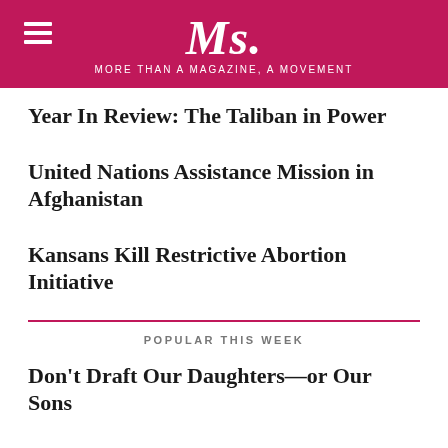Ms. MORE THAN A MAGAZINE, A MOVEMENT
Year In Review: The Taliban in Power
United Nations Assistance Mission in Afghanistan
Kansans Kill Restrictive Abortion Initiative
POPULAR THIS WEEK
Don't Draft Our Daughters—or Our Sons
The Inflation Reduction Act Is a Much-Needed Win for Women